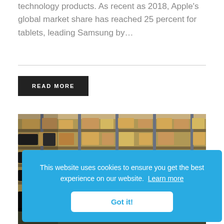technology products. As recent as 2018, Apple's global market share has reached 25 percent for tablets, leading Samsung by…
READ MORE
[Figure (photo): Warehouse shelving with cardboard boxes and industrial equipment on pallets, with 'With Tablets' text overlay at the bottom]
This website uses cookies to ensure you get the best experience on our website. Learn more
Got it!